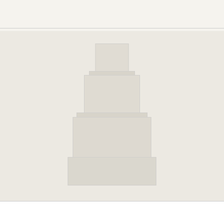BY KATE ARENDS – MAY 1, 2018
[Figure (photo): Faded/muted photograph of a multi-tiered wedding cake, shown against a light beige background. The cake appears to have 4 tiers with decorative elements visible.]